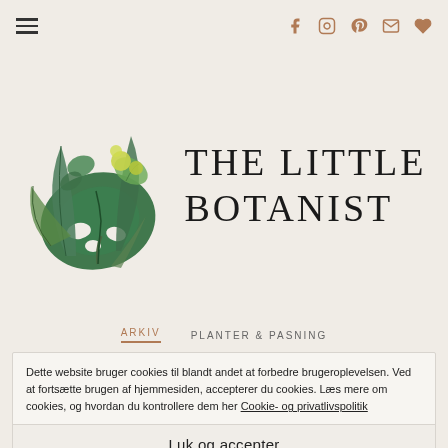The Little Botanist — navigation bar with hamburger menu and social icons (facebook, instagram, pinterest, email, heart)
[Figure (logo): The Little Botanist logo: botanical illustration of green tropical leaves and yellow-green flowers on the left, with large serif text 'THE LITTLE BOTANIST' on the right]
ARKIV   PLANTER & PASNING
Houseplants for southern Windows
JANUARY 14, 2018
Dette website bruger cookies til blandt andet at forbedre brugeroplevelsen. Ved at fortsætte brugen af hjemmesiden, accepterer du cookies. Læs mere om cookies, og hvordan du kontrollere dem her Cookie- og privatlivspolitik
Luk og accepter